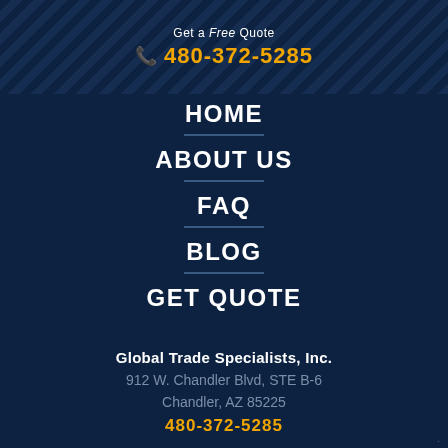Get a Free Quote
📞 480-372-5285
HOME
ABOUT US
FAQ
BLOG
GET QUOTE
Global Trade Specialists, Inc.
912 W. Chandler Blvd, STE B-6
Chandler, AZ 85225
480-372-5285